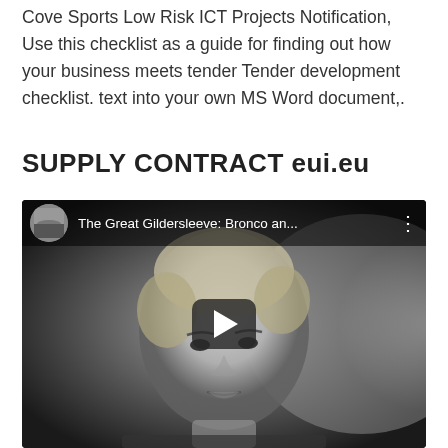Cove Sports Low Risk ICT Projects Notification, Use this checklist as a guide for finding out how your business meets tender Tender development checklist. text into your own MS Word document,.
SUPPLY CONTRACT eui.eu
[Figure (screenshot): YouTube video embed showing 'The Great Gildersleeve: Bronco an...' with a black and white photo of a blonde woman as the thumbnail and a play button overlay.]